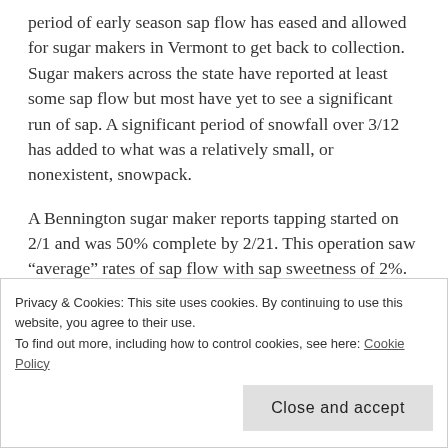period of early season sap flow has eased and allowed for sugar makers in Vermont to get back to collection.  Sugar makers across the state have reported at least some sap flow but most have yet to see a significant run of sap.  A significant period of snowfall over 3/12 has added to what was a relatively small, or nonexistent, snowpack.
A Bennington sugar maker reports tapping started on 2/1 and was 50% complete by 2/21.  This operation saw “average” rates of sap flow with sap sweetness of 2%.  This is also considered “average” for this
Privacy & Cookies: This site uses cookies. By continuing to use this website, you agree to their use.
To find out more, including how to control cookies, see here: Cookie Policy
Close and accept